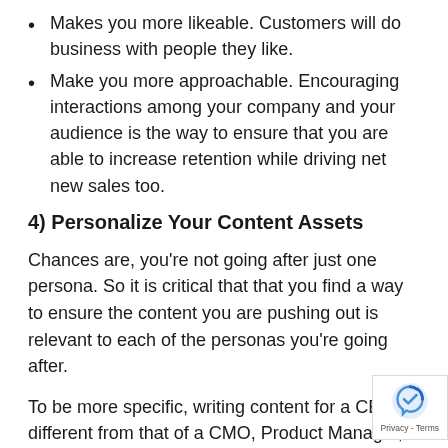Makes you more likeable. Customers will do business with people they like.
Make you more approachable. Encouraging interactions among your company and your audience is the way to ensure that you are able to increase retention while driving net new sales too.
4) Personalize Your Content Assets
Chances are, you're not going after just one persona. So it is critical that that you find a way to ensure the content you are pushing out is relevant to each of the personas you're going after.
To be more specific, writing content for a CEO is different from that of a CMO, Product Manager, and so on. In order to be successful with personalizing your content assets, you must deeply understand the challenges each persona faces. Then, you should address that by ...